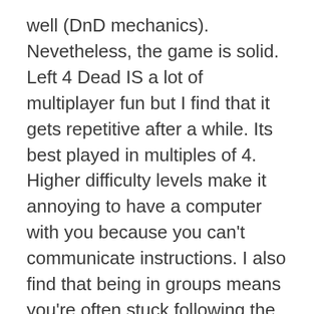well (DnD mechanics). Nevetheless, the game is solid. Left 4 Dead IS a lot of multiplayer fun but I find that it gets repetitive after a while. Its best played in multiples of 4. Higher difficulty levels make it annoying to have a computer with you because you can't communicate instructions. I also find that being in groups means you're often stuck following the guy that found a way to cheat the map in some kind of obscure corner. I agree its important to strategize but in some settings, like the Versus setting, playing cheaply makes the game less fun I find.